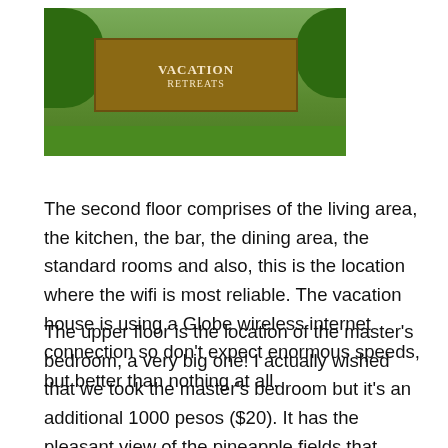[Figure (photo): Outdoor photo of a vacation property sign on wooden posts surrounded by green tropical foliage and grass. Sign reads 'VACATION RETREATS' or similar text.]
The second floor comprises of the living area, the kitchen, the bar, the dining area, the standard rooms and also, this is the location where the wifi is most reliable. The vacation house is using a Globe wireless internet connection so don't expect enormous speeds, but better than nothing at all.
The upper floor is the location of the master's bedroom, a very big one! I actually wished that we took the master's bedroom but it's an additional 1000 pesos ($20). It has the pleasant view of the pineapple fields that surround the property. The room we requested and the master's bedroom are the only rooms that have their own bathtub. All the bed sizes in the bedrooms are queen size but the master's